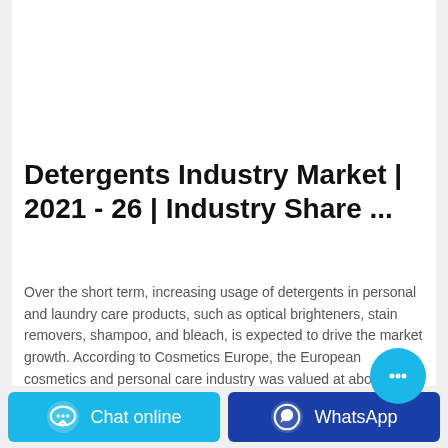[Figure (photo): Orange detergent powder bag/package with colorful labels and branding, photographed on a light gray background]
Detergents Industry Market | 2021 - 26 | Industry Share ...
Over the short term, increasing usage of detergents in personal and laundry care products, such as optical brighteners, stain removers, shampoo, and bleach, is expected to drive the market growth. According to Cosmetics Europe, the European cosmetics and personal care industry was valued at about USD 95.8 billion in 2019, with a growth rate of ...
Chat online
WhatsApp